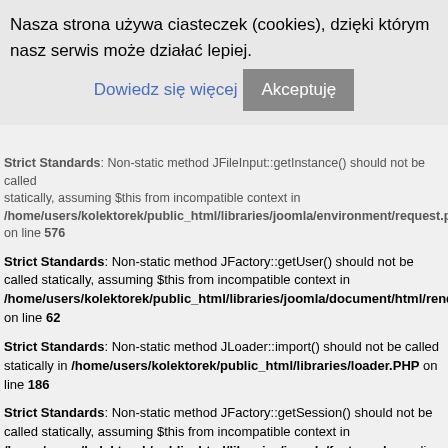Nasza strona używa ciasteczek (cookies), dzięki którym nasz serwis może działać lepiej. Dowiedz się więcej AkceptujÄ™
Strict Standards: Non-static method JFactory::getUser() should not be called statically, assuming $this from incompatible context in /home/users/kolektorek/public_html/libraries/joomla/document/html/renderer/module. on line 62
Strict Standards: Non-static method JLoader::import() should not be called statically in /home/users/kolektorek/public_html/libraries/loader.PHP on line 186
Strict Standards: Non-static method JFactory::getSession() should not be called statically, assuming $this from incompatible context in /home/users/kolektorek/public_html/libraries/joomla/factory.php on line 163
Strict Standards: Non-static method JFactory::getConfig() should not be called statically, assuming $this from incompatible context in /home/users/kolektorek/public_html/libraries/joomla/document/html/renderer/module. on line 63
Strict Standards: Non-static method JRegistryFormat::getInstance() should not be called statically, assuming $this from incompatible context in /home/users/kolektorek/public_html/libraries/joomla/registry/registry.php on line 370
Strict Standards: Non-static method JFilterInput::clean() should not be called statically,